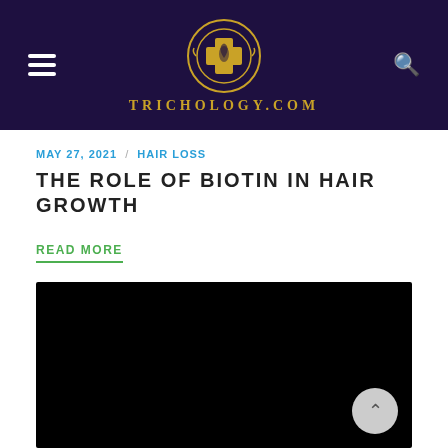TRICHOLOGY.COM
MAY 27, 2021 / HAIR LOSS
THE ROLE OF BIOTIN IN HAIR GROWTH
READ MORE
[Figure (photo): Black image area, likely a video thumbnail or article image]